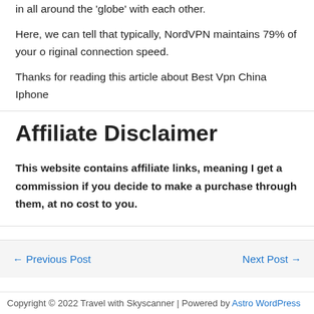in all around the 'globe' with each other.
Here, we can tell that typically, NordVPN maintains 79% of your original connection speed.
Thanks for reading this article about Best Vpn China Iphone
Affiliate Disclaimer
This website contains affiliate links, meaning I get a commission if you decide to make a purchase through them, at no cost to you.
Copyright © 2022 Travel with Skyscanner | Powered by Astro WordPress